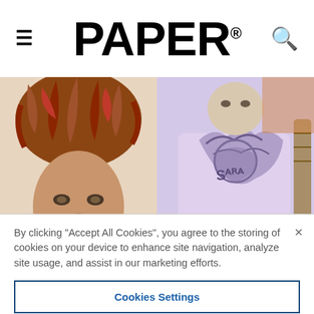PAPER®
[Figure (photo): Two-panel image: left panel shows a woman lying down with snakes in her hair as a Medusa-style photo; right panel shows a person's tattooed chest/torso area.]
By clicking “Accept All Cookies”, you agree to the storing of cookies on your device to enhance site navigation, analyze site usage, and assist in our marketing efforts.
Cookies Settings
Reject All
Accept All Cookies